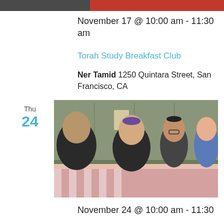[Figure (photo): Top banner image strip showing partial photo, dark and red sections]
November 17 @ 10:00 am - 11:30 am
Torah Study Breakfast Club
Ner Tamid 1250 Quintara Street, San Francisco, CA
Thu
24
[Figure (photo): Photo of people seated around a table with books and food, laughing and studying together in a community hall setting]
November 24 @ 10:00 am - 11:30